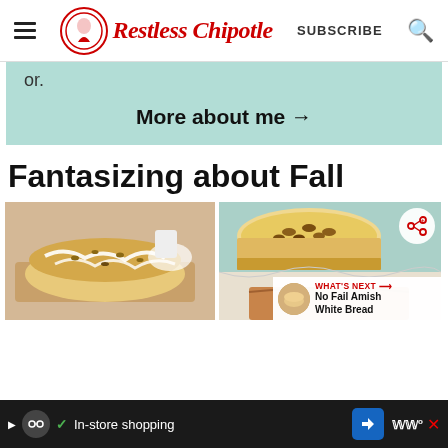Restless Chipotle — SUBSCRIBE
or.
More about me →
Fantasizing about Fall
[Figure (photo): Two food photos side by side: left shows a glazed loaf bread with white icing and nuts on a wooden board; right shows a round cheesecake with pecan topping, with a share icon overlay and a 'What's Next' card showing 'No Fail Amish White Bread']
WHAT'S NEXT → No Fail Amish White Bread
In-store shopping (ad bar)